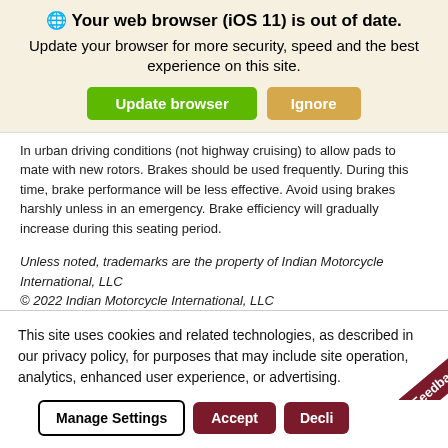[Figure (screenshot): Browser update notification banner with globe icon, bold heading '🌐 Your web browser (iOS 11) is out of date.', subtext 'Update your browser for more security, speed and the best experience on this site.', and two buttons: 'Update browser' (green) and 'Ignore' (tan/gold).]
In urban driving conditions (not highway cruising) to allow pads to mate with new rotors. Brakes should be used frequently. During this time, brake performance will be less effective. Avoid using brakes harshly unless in an emergency. Brake efficiency will gradually increase during this seating period.
Unless noted, trademarks are the property of Indian Motorcycle International, LLC
© 2022 Indian Motorcycle International, LLC
Was this article helpful?
This site uses cookies and related technologies, as described in our privacy policy, for purposes that may include site operation, analytics, enhanced user experience, or advertising.